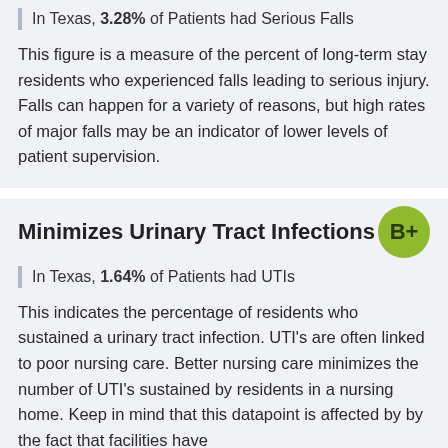In Texas, 3.28% of Patients had Serious Falls
This figure is a measure of the percent of long-term stay residents who experienced falls leading to serious injury. Falls can happen for a variety of reasons, but high rates of major falls may be an indicator of lower levels of patient supervision.
Minimizes Urinary Tract Infections
In Texas, 1.64% of Patients had UTIs
This indicates the percentage of residents who sustained a urinary tract infection. UTI's are often linked to poor nursing care. Better nursing care minimizes the number of UTI's sustained by residents in a nursing home. Keep in mind that this datapoint is affected by by the fact that facilities have